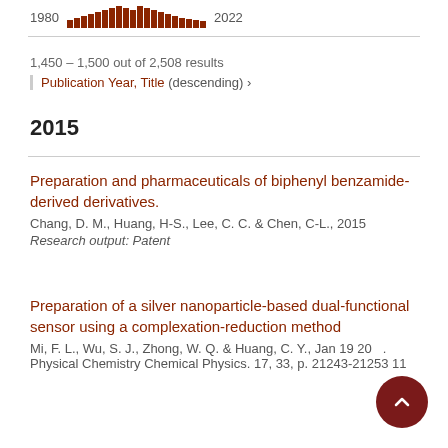[Figure (histogram): Histogram bar chart showing publication counts between 1980 and 2022]
1,450 – 1,500 out of 2,508 results
Publication Year, Title (descending) ›
2015
Preparation and pharmaceuticals of biphenyl benzamide-derived derivatives.
Chang, D. M., Huang, H-S., Lee, C. C. & Chen, C-L., 2015
Research output: Patent
Preparation of a silver nanoparticle-based dual-functional sensor using a complexation-reduction method
Mi, F. L., Wu, S. J., Zhong, W. Q. & Huang, C. Y., Jan 19 20...
Physical Chemistry Chemical Physics. 17, 33, p. 21243-21253 11